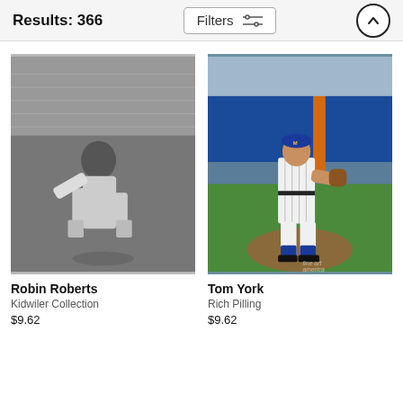Results: 366
Filters
[Figure (photo): Black and white photo of Robin Roberts in a baseball pitching pose in an empty stadium]
Robin Roberts
Kidwiler Collection
$9.62
[Figure (photo): Color photo of Tom York in a New York Mets uniform standing on the pitcher's mound]
Tom York
Rich Pilling
$9.62